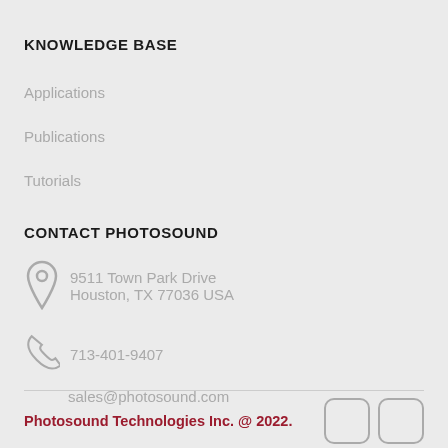KNOWLEDGE BASE
Applications
Publications
Tutorials
CONTACT PHOTOSOUND
9511 Town Park Drive
Houston, TX 77036 USA
713-401-9407
sales@photosound.com
Photosound Technologies Inc. @ 2022.